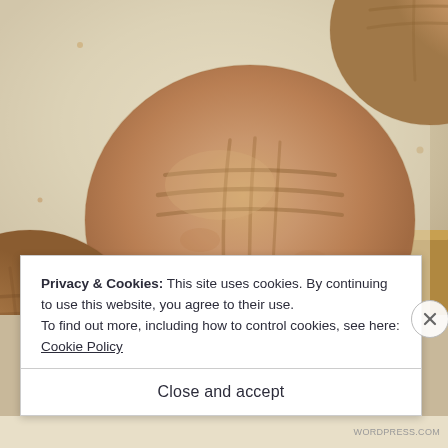[Figure (photo): Close-up photo of peanut butter cookies on a baking sheet lined with parchment paper. The cookies show the classic crosshatch fork marks on top and are golden-brown in color.]
Privacy & Cookies: This site uses cookies. By continuing to use this website, you agree to their use.
To find out more, including how to control cookies, see here: Cookie Policy
Close and accept